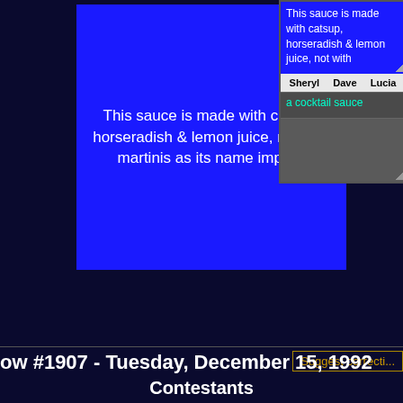[Figure (screenshot): Screenshot of a Jeopardy clue interface showing a blue clue box on the left with text about a sauce, and a right panel with the same clue text, contestant names (Sheryl, Dave, Lucia), and answer fields.]
This sauce is made with catsup, horseradish & lemon juice, not with martinis as its name implies
This sauce is made with catsup, horseradish & lemon juice, not with
Sheryl   Dave   Lucia
a cocktail sauce
Suggest correcti...
ow #1907 - Tuesday, December 15, 1992
Contestants